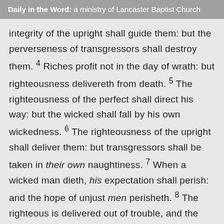Daily in the Word: a ministry of Lancaster Baptist Church
integrity of the upright shall guide them: but the perverseness of transgressors shall destroy them. 4 Riches profit not in the day of wrath: but righteousness delivereth from death. 5 The righteousness of the perfect shall direct his way: but the wicked shall fall by his own wickedness. 6 The righteousness of the upright shall deliver them: but transgressors shall be taken in their own naughtiness. 7 When a wicked man dieth, his expectation shall perish: and the hope of unjust men perisheth. 8 The righteous is delivered out of trouble, and the wicked cometh in his stead. 9 An hypocrite with his mouth